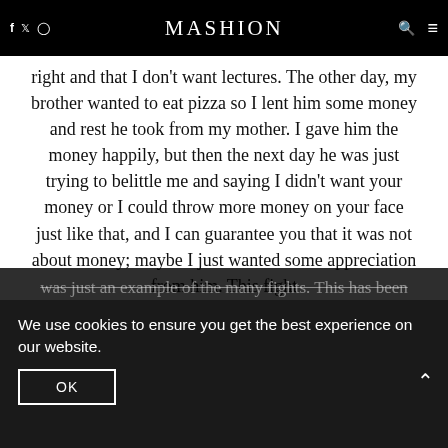f  Twitter  Instagram  MASHION  [search] [menu]
scold me. This happens so much that it makes me angry and I want to tell her to shout, that I am right and that I don't want lectures. The other day, my brother wanted to eat pizza so I lent him some money and rest he took from my mother. I gave him the money happily, but then the next day he was just trying to belittle me and saying I didn't want your money or I could throw more money on your face just like that, and I can guarantee you that it was not about money; maybe I just wanted some appreciation from him. This fight was just an example of the many fights. This has been affecting me and I am scared of expressing my feelings to anyone, such as my friends. I know I ranting but I just want someone to tell me that I am right in some situations and not some attention-seeking or
We use cookies to ensure you get the best experience on our website.
OK